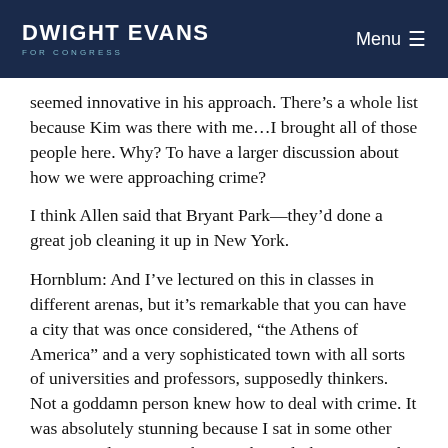DWIGHT EVANS FOR CONGRESS | Menu
seemed innovative in his approach. There’s a whole list because Kim was there with me…I brought all of those people here. Why? To have a larger discussion about how we were approaching crime?
I think Allen said that Bryant Park—they’d done a great job cleaning it up in New York.
Hornblum: And I’ve lectured on this in classes in different arenas, but it’s remarkable that you can have a city that was once considered, “the Athens of America” and a very sophisticated town with all sorts of universities and professors, supposedly thinkers. Not a goddamn person knew how to deal with crime. It was absolutely stunning because I sat in some other city council sessions where Rich Neal, the city’s Rich Neal,